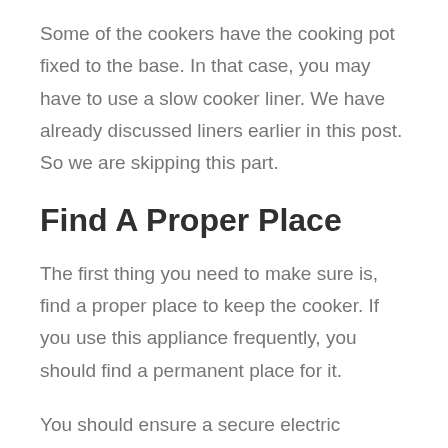Some of the cookers have the cooking pot fixed to the base. In that case, you may have to use a slow cooker liner. We have already discussed liners earlier in this post. So we are skipping this part.
Find A Proper Place
The first thing you need to make sure is, find a proper place to keep the cooker. If you use this appliance frequently, you should find a permanent place for it.
You should ensure a secure electric connection for your cooker. Because it is mandatory so that you can avoid any accident from happening